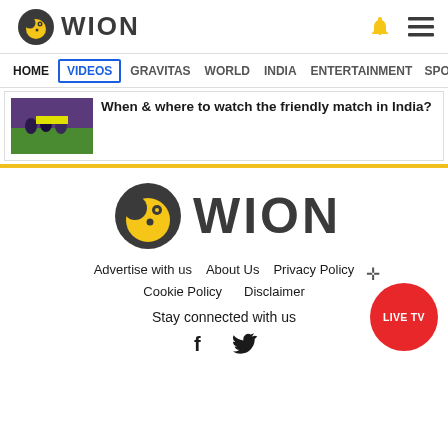WION
[Figure (screenshot): WION website navigation bar with HOME, VIDEOS (active/selected), GRAVITAS, WORLD, INDIA, ENTERTAINMENT, SPORTS menu items]
When & where to watch the friendly match in India?
[Figure (logo): WION logo - large version in footer area]
Advertise with us   About Us   Privacy Policy
Cookie Policy   Disclaimer
Stay connected with us
[Figure (infographic): Facebook and Twitter social media icons]
LIVE TV